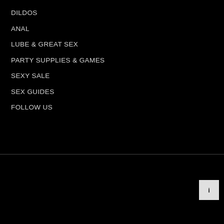DILDOS
ANAL
LUBE & GREAT SEX
PARTY SUPPLIES & GAMES
SEXY SALE
SEX GUIDES
FOLLOW US